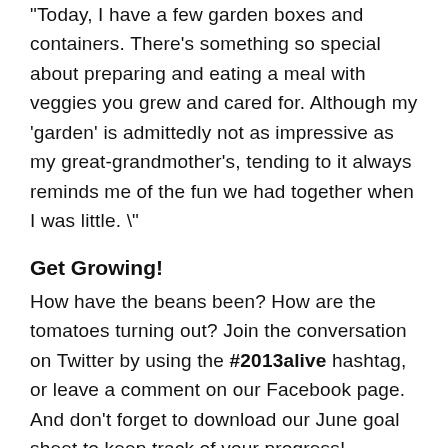"Today, I have a few garden boxes and containers. There's something so special about preparing and eating a meal with veggies you grew and cared for. Although my 'garden' is admittedly not as impressive as my great-grandmother's, tending to it always reminds me of the fun we had together when I was little. \"
Get Growing!
How have the beans been? How are the tomatoes turning out? Join the conversation on Twitter by using the #2013alive hashtag, or leave a comment on our Facebook page. And don't forget to download our June goal sheet to keep track of your progress!
For week 3 of #2013alive, we're getting our hands